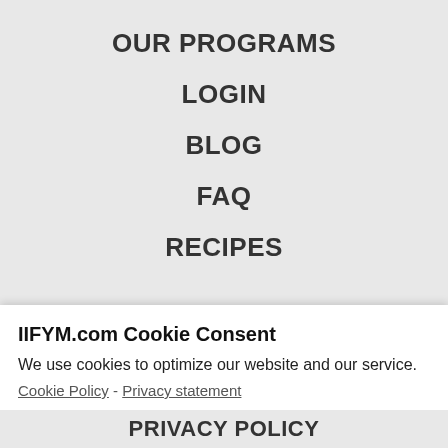OUR PROGRAMS
LOGIN
BLOG
FAQ
RECIPES
IIFYM.com Cookie Consent
We use cookies to optimize our website and our service.
Cookie Policy  -  Privacy statement
Accept
PRIVACY POLICY